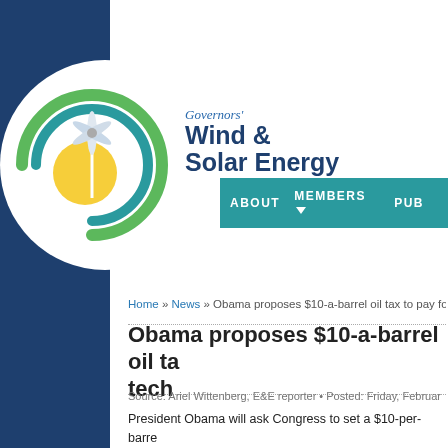[Figure (logo): Governors' Wind & Solar Energy Coalition logo — circular emblem with wind turbine, sun, and green/blue/yellow arcs, beside the organization name text]
ABOUT   MEMBERS   PUB
Home » News » Obama proposes $10-a-barrel oil tax to pay for
Obama proposes $10-a-barrel oil ta tech
Source: Ariel Wittenberg, E&E reporter • Posted: Friday, Februar
President Obama will ask Congress to set a $10-per-barre transportation infrastructure, the White House announced
In a preview of the president's fiscal 2017 budget, which w House outlined a plan to make oil companies pay fees tha enhanced transportation options like low-carbon technolog infrastructure.